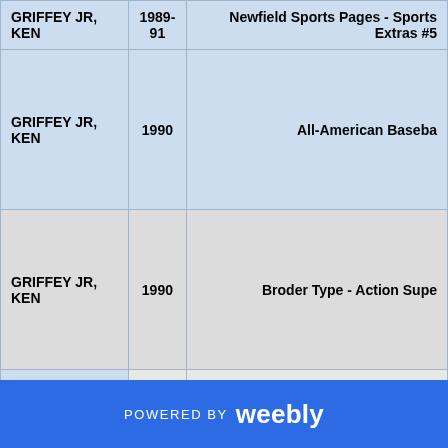| Name | Year | Description |
| --- | --- | --- |
| GRIFFEY JR, KEN | 1989-91 | Newfield Sports Pages - Sports Extras #5 |
| GRIFFEY JR, KEN | 1990 | All-American Baseball |
| GRIFFEY JR, KEN | 1990 | Broder Type - Action Super |
|  |  |  |
POWERED BY weebly